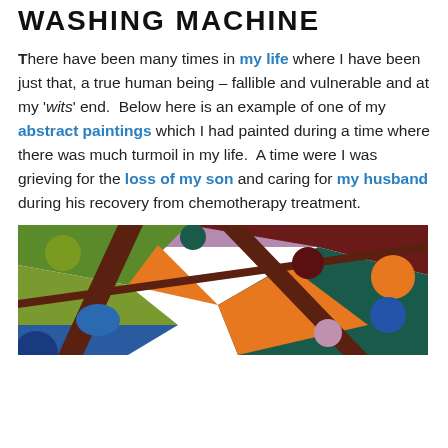WASHING MACHINE (partial)
There have been many times in my life where I have been just that, a true human being – fallible and vulnerable and at my 'wits' end. Below here is an example of one of my abstract paintings which I had painted during a time where there was much turmoil in my life. A time were I was grieving for the loss of my son and caring for my husband during his recovery from chemotherapy treatment.
[Figure (illustration): Abstract painting with colorful geometric shapes including circles and triangular forms in green, blue, orange, purple, dark red/maroon, and other colors on a divided canvas with dark brown diagonal lines]